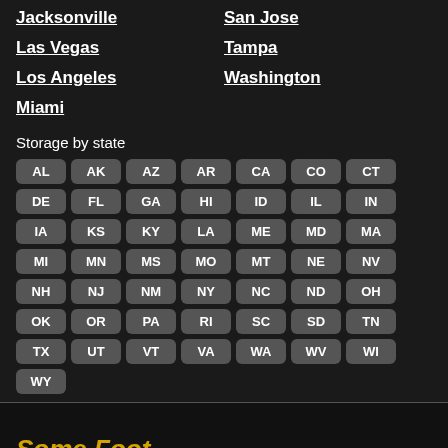Jacksonville
San Jose
Las Vegas
Tampa
Los Angeles
Washington
Miami
Storage by state
AL AK AZ AR CA CO CT DE FL GA HI ID IL IN IA KS KY LA ME MD MA MI MN MS MO MT NE NV NH NJ NM NY NC ND OH OK OR PA RI SC SD TN TX UT VT VA WA WV WI WY
Some Footer